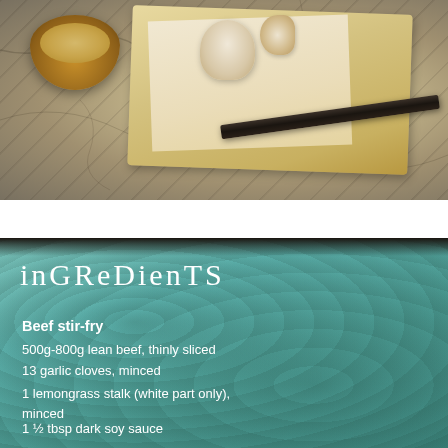[Figure (photo): Overhead photo of cooking ingredients: a wooden bowl filled with chopped nuts/spices, garlic bulbs and cloves on parchment paper on a wooden cutting board with a dark knife/rolling pin, on a cracked dark surface.]
inGReDienTS
Beef stir-fry
500g-800g lean beef, thinly sliced
13 garlic cloves, minced
1 lemongrass stalk (white part only), minced
1 ½ tbsp dark soy sauce